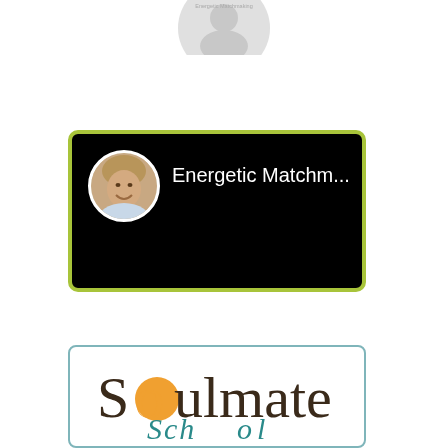[Figure (screenshot): Circular profile photo of a woman with blonde hair, smiling, partially visible at top center of page]
[Figure (screenshot): Video player UI with black background, green-yellow border, circular profile photo of a smiling woman on the left, and text 'Energetic Matchm...' in white]
[Figure (logo): Soulmate logo card with light blue border on white background, showing 'Soulmate' in dark brown serif/script font with orange circle accent on the letter 'o', and cursive text below partially visible]